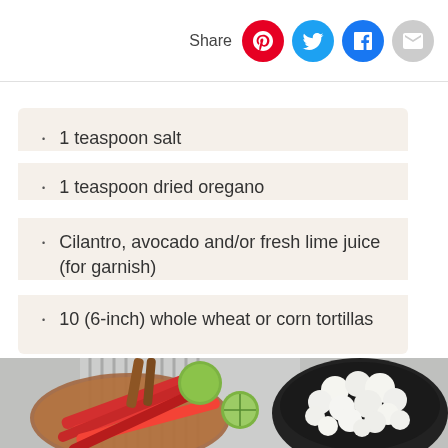Share
1 teaspoon salt
1 teaspoon dried oregano
Cilantro, avocado and/or fresh lime juice (for garnish)
10 (6-inch) whole wheat or corn tortillas
[Figure (photo): Overhead shot of taco ingredients including red bell pepper strips, lime halves, cauliflower in a dark bowl, cinnamon sticks, and a striped cloth on a light background.]